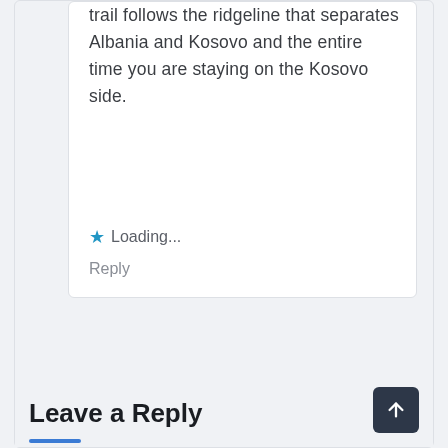trail follows the ridgeline that separates Albania and Kosovo and the entire time you are staying on the Kosovo side.
Loading...
Reply
Leave a Reply